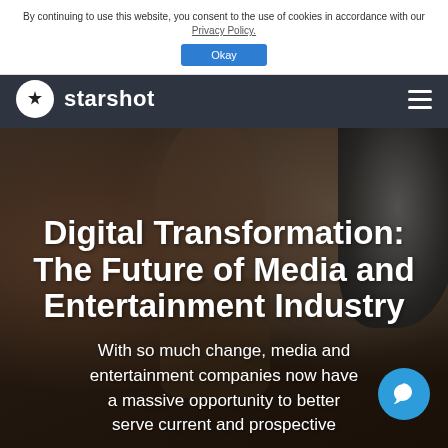By continuing to use this website, you consent to the use of cookies in accordance with our Privacy Policy.
Okay
starshot
[Figure (photo): Hero background photo showing a blurred scene with a camera lens visible on the right side, dark cinematic tones]
Digital Transformation: The Future of Media and Entertainment Industry
With so much change, media and entertainment companies now have a massive opportunity to better serve current and prospective